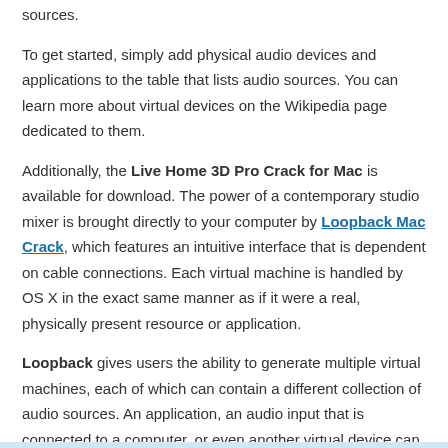sources.
To get started, simply add physical audio devices and applications to the table that lists audio sources. You can learn more about virtual devices on the Wikipedia page dedicated to them.
Additionally, the Live Home 3D Pro Crack for Mac is available for download. The power of a contemporary studio mixer is brought directly to your computer by Loopback Mac Crack, which features an intuitive interface that is dependent on cable connections. Each virtual machine is handled by OS X in the exact same manner as if it were a real, physically present resource or application.
Loopback gives users the ability to generate multiple virtual machines, each of which can contain a different collection of audio sources. An application, an audio input that is connected to a computer, or even another virtual device can be used to activate the Rogue Amoeba Loopback license key.